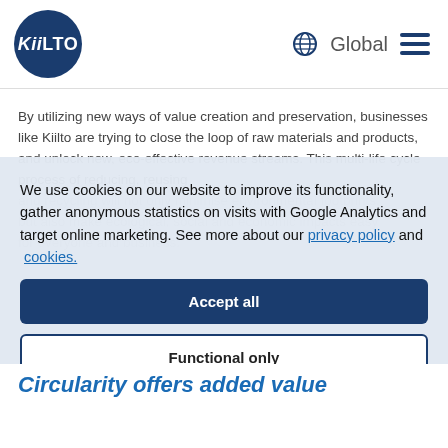KiilTO | Global
By utilizing new ways of value creation and preservation, businesses like Kiilto are trying to close the loop of raw materials and products, and unlock new, eco-effective revenue streams. This multi-life cycle process of reducing, reusing and recycling will not only minimise environmental footprints, but also make ecological, social and economic impacts easy for everyone and business.
We use cookies on our website to improve its functionality, gather anonymous statistics on visits with Google Analytics and target online marketing. See more about our privacy policy and cookies.
Accept all
Functional only
View preferences
In the words of Pövinen, "Although building new circular processes may use resources in the beginning, eventually it forms lean. Circular processes become economical as they are designed for material's meaningful next use, with minimum wastes."
Circularity offers added value